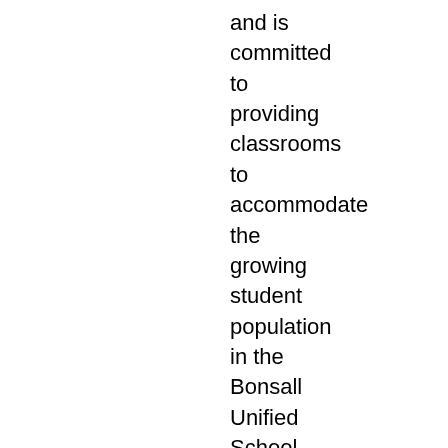and is committed to providing classrooms to accommodate the growing student population in the Bonsall Unified School District (the "District") by building a new high school